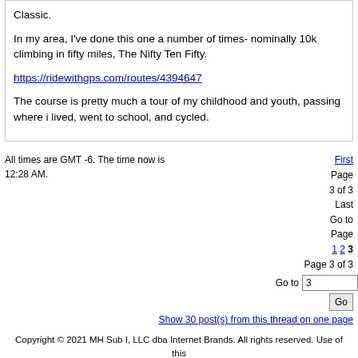Classic.

In my area, I've done this one a number of times- nominally 10k climbing in fifty miles, The Nifty Ten Fifty.

https://ridewithgps.com/routes/4394647

The course is pretty much a tour of my childhood and youth, passing where i lived, went to school, and cycled.
All times are GMT -6. The time now is 12:28 AM.
First Page 3 of 3 Last Go to Page 1 2 3 Page 3 of 3
Go to 3 Go
Show 30 post(s) from this thread on one page
Copyright © 2021 MH Sub I, LLC dba Internet Brands. All rights reserved. Use of this site indicates your consent to the Terms of Use.